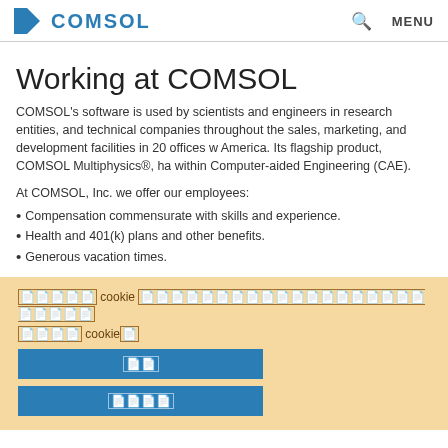COMSOL   🔍   MENU
Working at COMSOL
COMSOL's software is used by scientists and engineers in research entities, and technical companies throughout the sales, marketing, and development facilities in 20 offices w America. Its flagship product, COMSOL Multiphysics®, ha within Computer-aided Engineering (CAE).
At COMSOL, Inc. we offer our employees:
Compensation commensurate with skills and experience.
Health and 401(k) plans and other benefits.
Generous vacation times.
[Cookie consent banner in Japanese/Chinese characters] cookie [characters] cookie[character]
[Button: accept] [Button: settings]